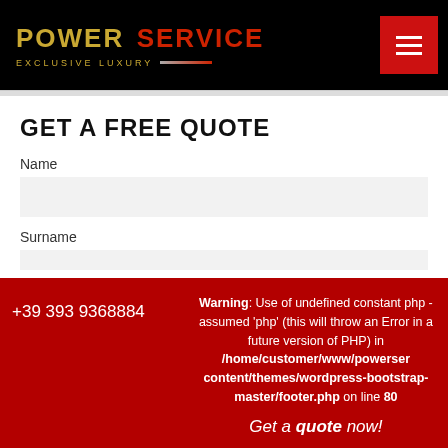[Figure (logo): Power Service Exclusive Luxury logo in black header with gold and red text, plus hamburger menu button]
GET A FREE QUOTE
Name
Surname
+39 393 9368884
Warning: Use of undefined constant php - assumed 'php' (this will throw an Error in a future version of PHP) in /home/customer/www/powerser content/themes/wordpress-bootstrap-master/footer.php on line 80
Get a quote now!